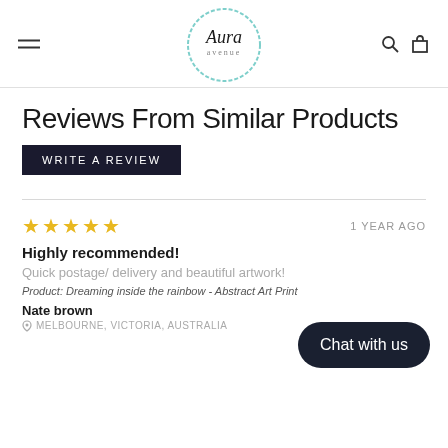Aura Avenue — navigation header with logo, hamburger menu, search and cart icons
Reviews From Similar Products
WRITE A REVIEW
★★★★★   1 YEAR AGO
Highly recommended!
Quick postage/ delivery and beautiful artwork!
Product: Dreaming inside the rainbow - Abstract Art Print
Nate brown
MELBOURNE, VICTORIA, AUSTRALIA
Chat with us